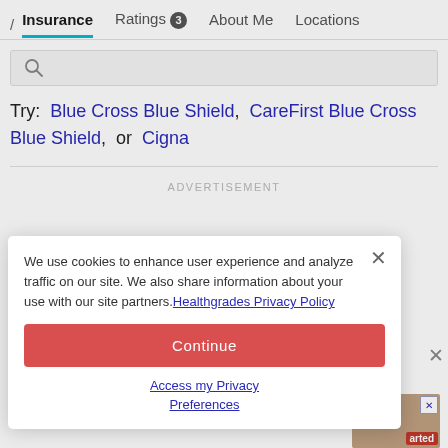/ Insurance  Ratings 3  About Me  Locations
[Figure (screenshot): Search input box with magnifying glass icon on grey background]
Try:  Blue Cross Blue Shield,  CareFirst Blue Cross Blue Shield,  or  Cigna
ADVERTISEMENT
We use cookies to enhance user experience and analyze traffic on our site. We also share information about your use with our site partners. Healthgrades Privacy Policy
Continue
Access my Privacy Preferences